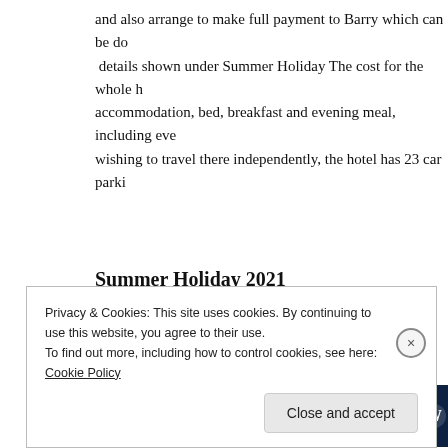and also arrange to make full payment to Barry which can be do-  details shown under Summer Holiday The cost for the whole h- accommodation, bed, breakfast and evening meal, including eve- wishing to travel there independently, the hotel has 23 car parki-
Summer Holiday 2021
11th June 2021
[Figure (other): Dark navy advertisement banner with text 'Opinions. We all have them!' and a partial WordPress logo on the right.]
PLEASE NOTE
Privacy & Cookies: This site uses cookies. By continuing to use this website, you agree to their use.
To find out more, including how to control cookies, see here: Cookie Policy
Close and accept